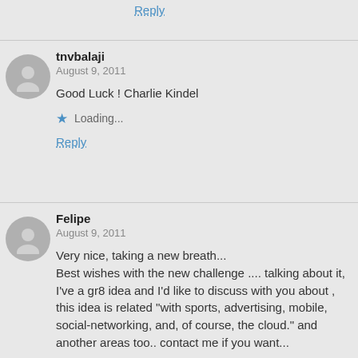Reply
tnvbalaji
August 9, 2011
Good Luck ! Charlie Kindel
Loading...
Reply
Felipe
August 9, 2011
Very nice, taking a new breath...
Best wishes with the new challenge .... talking about it, I've a gr8 idea and I'd like to discuss with you about , this idea is related "with sports, advertising, mobile, social-networking, and, of course, the cloud." and another areas too.. contact me if you want...
Loading...
Reply